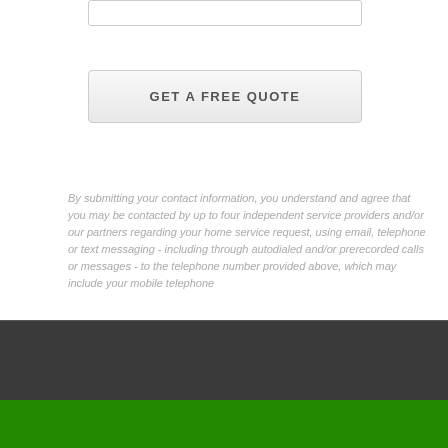GET A FREE QUOTE
By submitting your contact information, you understand and agree that you may be contacted by up to four independent service providers and/or our partners regarding your home service request, using email, telephone or text messaging - including through autodialed and/or prerecorded calls or messages - to the telephone number provided above, which may include your mobile telephone
© AutoRepair Theme